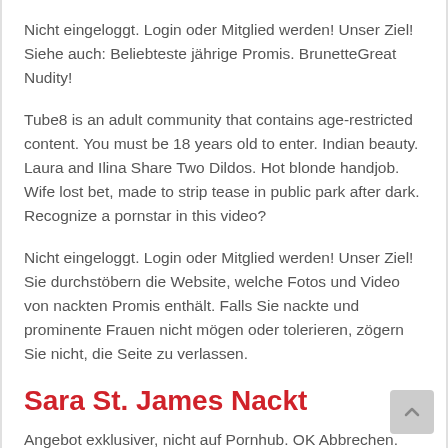Nicht eingeloggt. Login oder Mitglied werden! Unser Ziel! Siehe auch: Beliebteste jährige Promis. BrunetteGreat Nudity!
Tube8 is an adult community that contains age-restricted content. You must be 18 years old to enter. Indian beauty. Laura and Ilina Share Two Dildos. Hot blonde handjob. Wife lost bet, made to strip tease in public park after dark. Recognize a pornstar in this video?
Nicht eingeloggt. Login oder Mitglied werden! Unser Ziel! Sie durchstöbern die Website, welche Fotos und Video von nackten Promis enthält. Falls Sie nackte und prominente Frauen nicht mögen oder tolerieren, zögern Sie nicht, die Seite zu verlassen.
Sara St. James Nackt
Angebot exklusiver, nicht auf Pornhub. OK Abbrechen.